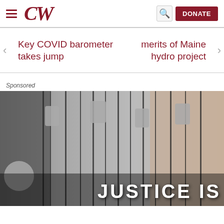CW
Key COVID barometer takes jump
merits of Maine hydro project
Sponsored
[Figure (photo): Black and white photo of military dog tags hanging on chains with text overlay 'JUSTICE IS HER']